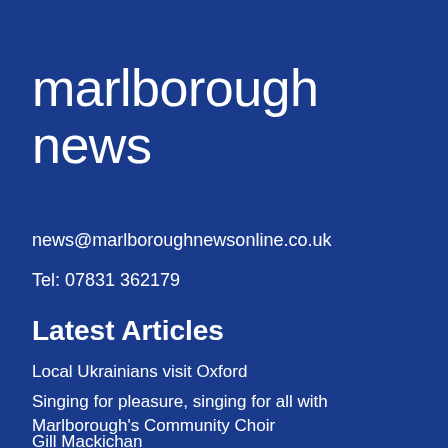marlborough news
news@marlboroughnewsonline.co.uk
Tel: 07831 362179
Latest Articles
Local Ukrainians visit Oxford
Singing for pleasure, singing for all with Marlborough's Community Choir
Gill Mackichan